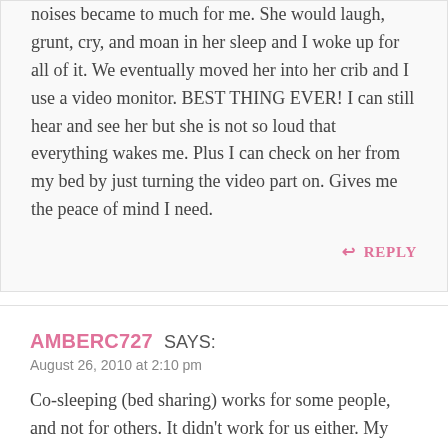noises became to much for me. She would laugh, grunt, cry, and moan in her sleep and I woke up for all of it. We eventually moved her into her crib and I use a video monitor. BEST THING EVER! I can still hear and see her but she is not so loud that everything wakes me. Plus I can check on her from my bed by just turning the video part on. Gives me the peace of mind I need.
REPLY
AMBERC727 SAYS:
August 26, 2010 at 2:10 pm
Co-sleeping (bed sharing) works for some people, and not for others. It didn't work for us either. My little boy was just like your daughter. He slept great